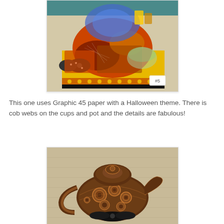[Figure (photo): Halloween-themed paper craft tea set on a wicker tray. Features Graphic 45 paper with orange, black, yellow Halloween patterns, decorative ribbon bows with polka dots, cobwebs on cups and teapot, candy dish, and a white tag labeled #5.]
This one uses Graphic 45 paper with a Halloween theme. There is cob webs on the cups and pot and the details are fabulous!
[Figure (photo): Close-up of a paper craft teapot made with dark brown and copper toned steampunk or Halloween patterned paper, featuring circular gear-like embellishments, a black bow, sitting on a wicker surface.]